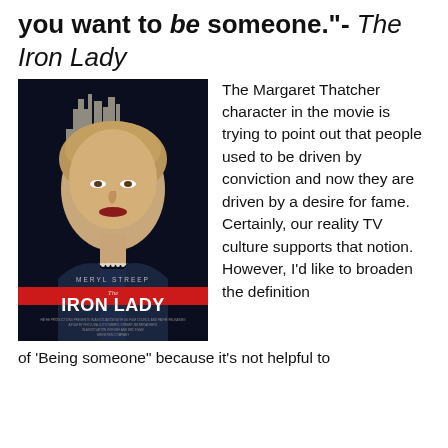you want to be someone."- The Iron Lady
[Figure (photo): Movie poster for 'The Iron Lady' featuring Meryl Streep as Margaret Thatcher against a dark background. Text reads 'NEVER COMPROMISE' at top, 'MERYL STREEP' and 'The IRON LADY' at bottom.]
The Margaret Thatcher character in the movie is trying to point out that people used to be driven by conviction and now they are driven by a desire for fame. Certainly, our reality TV culture supports that notion. However, I'd like to broaden the definition of 'Being someone" because it's not helpful to
of 'Being someone" because it's not helpful to